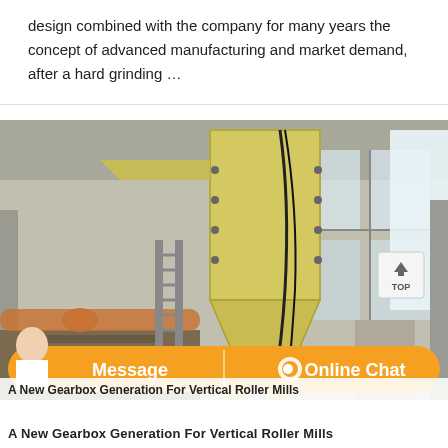design combined with the company for many years the concept of advanced manufacturing and market demand, after a hard grinding …
[Figure (photo): Photograph of a large yellow industrial hopper/conveyor machine inside a factory building with concrete columns and windows]
A New Gearbox Generation For Vertical Roller Mills